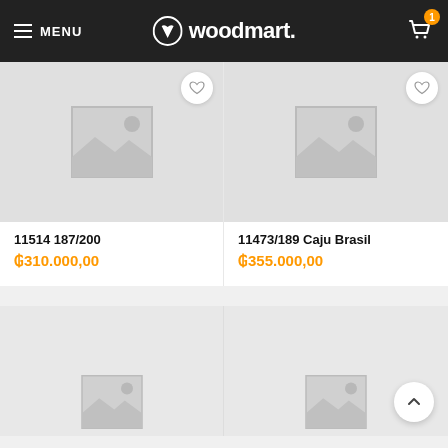MENU | woodmart. | Cart (1 item)
[Figure (photo): Product card with placeholder image for item 11514 187/200]
11514 187/200
₲310.000,00
[Figure (photo): Product card with placeholder image for item 11473/189 Caju Brasil]
11473/189 Caju Brasil
₲355.000,00
[Figure (photo): Partially visible bottom-left product card with placeholder]
[Figure (photo): Partially visible bottom-right product card with placeholder and scroll-to-top button]